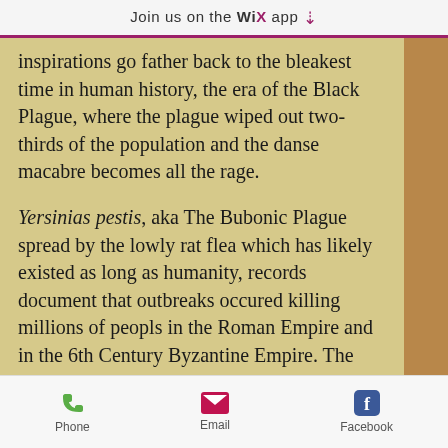Join us on the WiX app ↓
inspirations go father back to the bleakest time in human history, the era of the Black Plague, where the plague wiped out two-thirds of the population and the danse macabre becomes all the rage.

Yersinias pestis, aka The Bubonic Plague spread by the lowly rat flea which has likely existed as long as humanity, records document that outbreaks occured killing millions of peopls in the Roman Empire and in the 6th Century Byzantine Empire. The most catastrophic was the 14th
Phone | Email | Facebook